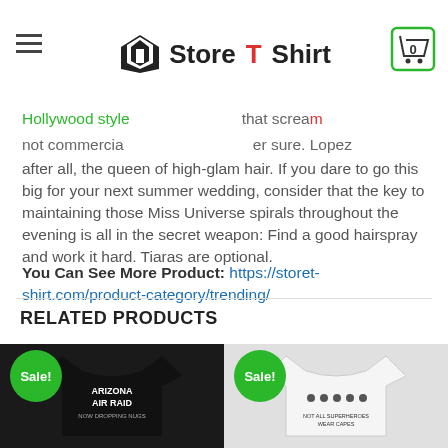Store T Shirt
Hollywood style... after all, the queen of high-glam hair. If you dare to go this big for your next summer wedding, consider that the key to maintaining those Miss Universe spirals throughout the evening is all in the secret weapon: Find a good hairspray and work it hard. Tiaras are optional.
You Can See More Product: https://storet-shirt.com/product-category/trending/
RELATED PRODUCTS
[Figure (photo): Black t-shirt with 'ARIZONA AIR RAID NOW DROPPING NUGS' text, with Sale badge]
[Figure (photo): White t-shirt with 'NOT ALL SUPERHEROES WEAR CAPES' and cartoon figures, with Sale badge]